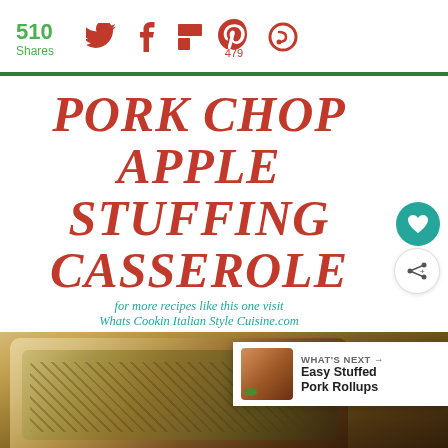510 Shares — social share bar with Twitter, Facebook, Flipboard, Pinterest (479), and another icon
PORK CHOP APPLE STUFFING CASSEROLE
for more recipes like this one visit Whats Cookin Italian Style Cuisine.com
[Figure (photo): Photo of pork chop apple stuffing casserole in a baking dish, with a 'WHAT'S NEXT' callout showing Easy Stuffed Pork Rollups]
WHAT'S NEXT → Easy Stuffed Pork Rollups
take the pledge → RELEASE ad